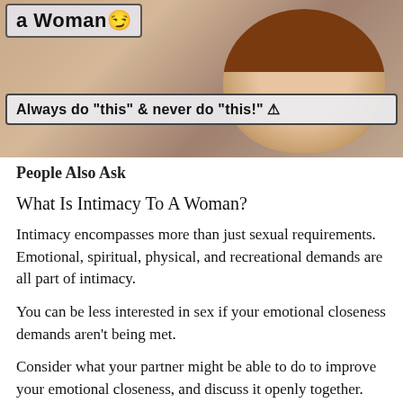[Figure (screenshot): Thumbnail image of a woman with text overlays: 'a Woman' with winking emoji at top left, and 'Always do "this" & never do "this"! ⚠️' banner below]
People Also Ask
What Is Intimacy To A Woman?
Intimacy encompasses more than just sexual requirements. Emotional, spiritual, physical, and recreational demands are all part of intimacy.
You can be less interested in sex if your emotional closeness demands aren't being met.
Consider what your partner might be able to do to improve your emotional closeness, and discuss it openly together.